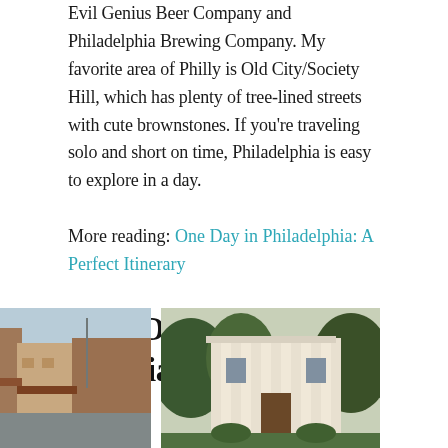Evil Genius Beer Company and Philadelphia Brewing Company. My favorite area of Philly is Old City/Society Hill, which has plenty of tree-lined streets with cute brownstones. If you're traveling solo and short on time, Philadelphia is easy to explore in a day.
More reading: One Day in Philadelphia: A Perfect Itinerary
New Orleans, Louisiana
[Figure (photo): Street view of New Orleans with historic brick buildings and awnings]
[Figure (photo): New Orleans historic home with white columns and lush green trees/garden]